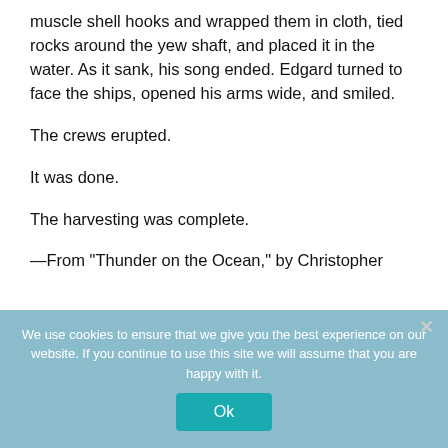muscle shell hooks and wrapped them in cloth, tied rocks around the yew shaft, and placed it in the water. As it sank, his song ended. Edgard turned to face the ships, opened his arms wide, and smiled.
The crews erupted.
It was done.
The harvesting was complete.
—From "Thunder on the Ocean," by Christopher
We use cookies to ensure that we give you the best experience on our website. If you continue to use this site we will assume that you are happy with it.